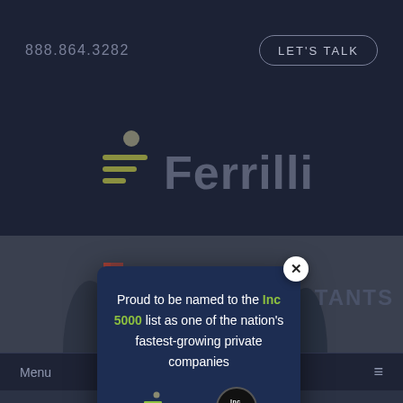888.864.3282
LET'S TALK
[Figure (logo): Ferrilli company logo with stylized icon and wordmark on dark navy background]
Menu
[Figure (screenshot): Website screenshot showing Ferrilli homepage with a modal popup overlay announcing 'Proud to be named to the Inc 5000 list as one of the nation's fastest-growing private companies' with Ferrilli and Inc 5000 logos, plus a close (X) button. Background shows partial text 'AUTHO...' and '...OMAS' and '...TANTS'.]
Proud to be named to the Inc 5000 list as one of the nation's fastest-growing private companies